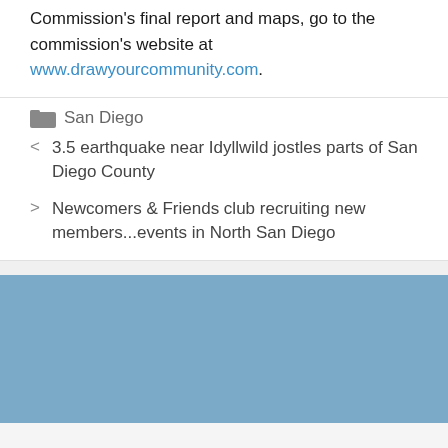Commission's final report and maps, go to the commission's website at www.drawyourcommunity.com.
San Diego
< 3.5 earthquake near Idyllwild jostles parts of San Diego County
> Newcomers & Friends club recruiting new members...events in North San Diego
[Figure (other): Blue banner/advertisement area at the bottom of the page]